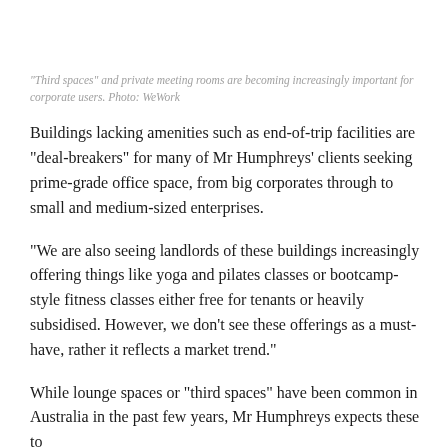“Third spaces” and private meeting rooms are becoming increasingly important for corporate users. Photo: WeWork
Buildings lacking amenities such as end-of-trip facilities are “deal-breakers” for many of Mr Humphreys’ clients seeking prime-grade office space, from big corporates through to small and medium-sized enterprises.
“We are also seeing landlords of these buildings increasingly offering things like yoga and pilates classes or bootcamp-style fitness classes either free for tenants or heavily subsidised. However, we don’t see these offerings as a must-have, rather it reflects a market trend.”
While lounge spaces or “third spaces” have been common in Australia in the past few years, Mr Humphreys expects these to